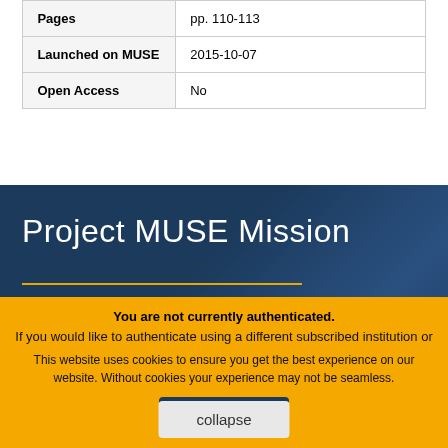| Pages | pp. 110-113 |
| Launched on MUSE | 2015-10-07 |
| Open Access | No |
Project MUSE Mission
collapse
Project MUSE promotes...
You are not currently authenticated.
If you would like to authenticate using a different subscribed institution or
This website uses cookies to ensure you get the best experience on our website. Without cookies your experience may not be seamless.
Accept